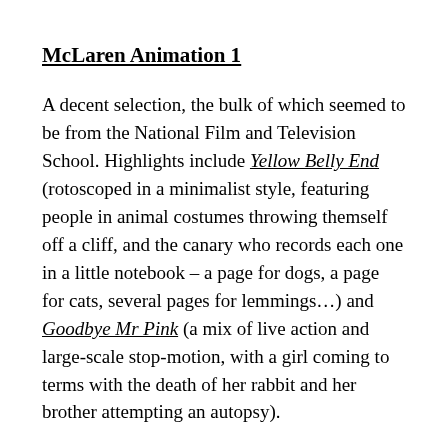McLaren Animation 1
A decent selection, the bulk of which seemed to be from the National Film and Television School. Highlights include Yellow Belly End (rotoscoped in a minimalist style, featuring people in animal costumes throwing themself off a cliff, and the canary who records each one in a little notebook – a page for dogs, a page for cats, several pages for lemmings…) and Goodbye Mr Pink (a mix of live action and large-scale stop-motion, with a girl coming to terms with the death of her rabbit and her brother attempting an autopsy).
I also liked Photograph Of Jesus, which animates the odder enquiries made to an image archive with cut-out photographs, including the aforementioned